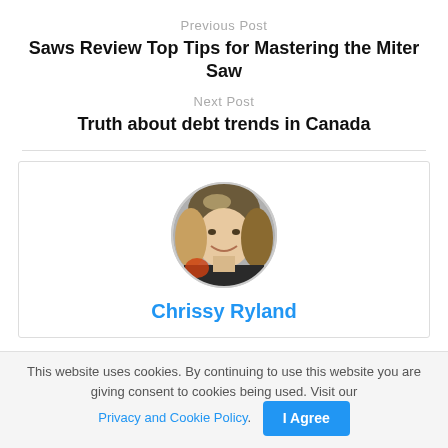Previous Post
Saws Review Top Tips for Mastering the Miter Saw
Next Post
Truth about debt trends in Canada
[Figure (photo): Circular profile photo of Chrissy Ryland, a smiling blonde woman]
Chrissy Ryland
This website uses cookies. By continuing to use this website you are giving consent to cookies being used. Visit our Privacy and Cookie Policy.